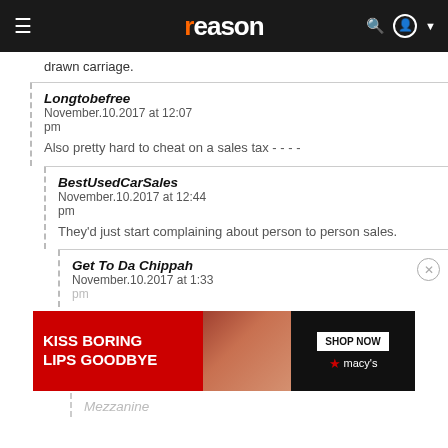reason
drawn carriage.
Longtobefree
November.10.2017 at 12:07 pm
Also pretty hard to cheat on a sales tax - - - -
BestUsedCarSales
November.10.2017 at 12:44 pm
They'd just start complaining about person to person sales.
Get To Da Chippah
November.10.2017 at 1:33 pm
[Figure (photo): Macy's advertisement banner: 'KISS BORING LIPS GOODBYE' with SHOP NOW button and woman's face with red lipstick]
Mezzanine